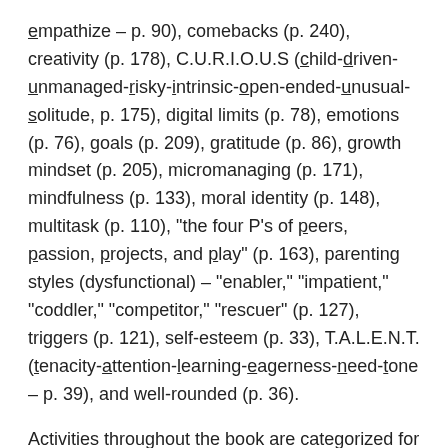empathize – p. 90), comebacks (p. 240), creativity (p. 178), C.U.R.I.O.U.S (child-driven-unmanaged-risky-intrinsic-open-ended-unusual-solitude, p. 175), digital limits (p. 78), emotions (p. 76), goals (p. 209), gratitude (p. 86), growth mindset (p. 205), micromanaging (p. 171), mindfulness (p. 133), moral identity (p. 148), multitask (p. 110), "the four P's of peers, passion, projects, and play" (p. 163), parenting styles (dysfunctional) – "enabler," "impatient," "coddler," "competitor," "rescuer" (p. 127), triggers (p. 121), self-esteem (p. 33), T.A.L.E.N.T. (tenacity-attention-learning-eagerness-need-tone – p. 39), and well-rounded (p. 36).
Activities throughout the book are categorized for age-suitability: Y = young children, toddlers, and preschoolers; s = school-age; t = tweens and older; a = all ages.